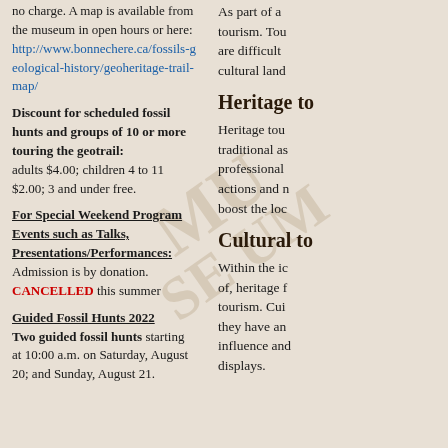no charge. A map is available from the museum in open hours or here: http://www.bonnechere.ca/fossils-geological-history/geoheritage-trail-map/
Discount for scheduled fossil hunts and groups of 10 or more touring the geotrail: adults $4.00; children 4 to 11 $2.00; 3 and under free.
For Special Weekend Program Events such as Talks, Presentations/Performances: Admission is by donation. CANCELLED this summer
Guided Fossil Hunts 2022
Two guided fossil hunts starting at 10:00 a.m. on Saturday, August 20; and Sunday, August 21.
As part of a tourism. Tourism are difficult cultural land
Heritage to
Heritage tourism traditional as professional actions and r boost the loc
Cultural to
Within the ic of, heritage f tourism. Cui they have an influence an displays.